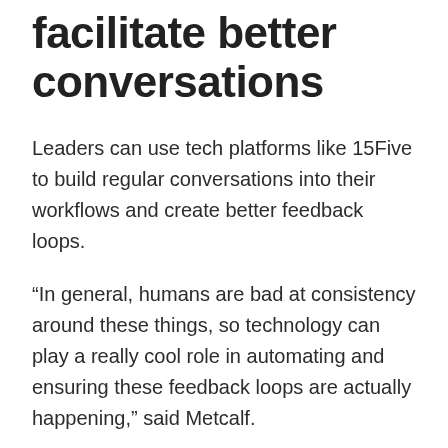facilitate better conversations
Leaders can use tech platforms like 15Five to build regular conversations into their workflows and create better feedback loops.
“In general, humans are bad at consistency around these things, so technology can play a really cool role in automating and ensuring these feedback loops are actually happening,” said Metcalf.